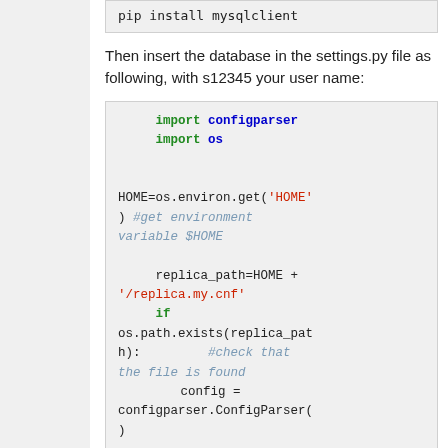[Figure (screenshot): Code block showing: pip install mysqlclient]
Then insert the database in the settings.py file as following, with s12345 your user name:
[Figure (screenshot): Python code block showing import configparser, import os, HOME=os.environ.get('HOME') #get environment variable $HOME, replica_path=HOME + '/replica.my.cnf', if os.path.exists(replica_path): #check that the file is found, config = configparser.ConfigParser()]